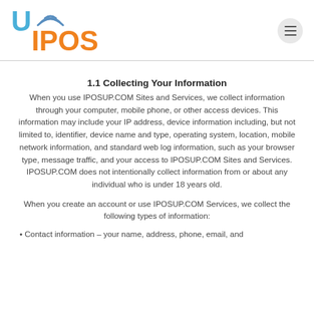UIPOS logo and menu button
1.1 Collecting Your Information
When you use IPOSUP.COM Sites and Services, we collect information through your computer, mobile phone, or other access devices. This information may include your IP address, device information including, but not limited to, identifier, device name and type, operating system, location, mobile network information, and standard web log information, such as your browser type, message traffic, and your access to IPOSUP.COM Sites and Services. IPOSUP.COM does not intentionally collect information from or about any individual who is under 18 years old.
When you create an account or use IPOSUP.COM Services, we collect the following types of information:
Contact information – your name, address, phone, email, and